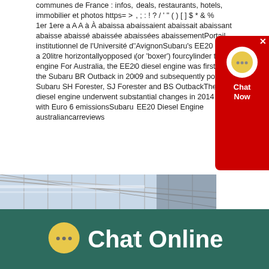communes de France : infos, deals, restaurants, hotels, immobilier et photos https= > , ; : ! ? / ' " ( ) [ ] $ * & % 1er 1ere a A A à À abaissa abaissaient abaissait abaissant abaisse abaissé abaissée abaissées abaissementPortail institutionnel de l'Université d'AvignonSubaru's EE20 engine was a 20litre horizontallyopposed (or 'boxer') fourcylinder turbodiesel engine For Australia, the EE20 diesel engine was first offered in the Subaru BR Outback in 2009 and subsequently powered the Subaru SH Forester, SJ Forester and BS OutbackThe EE20 diesel engine underwent substantial changes in 2014 to comply with Euro 6 emissionsSubaru EE20 Diesel Engine australiancarreviews
[Figure (photo): Interior of a building with a glass/metal roof structure, partially visible text overlay at bottom right]
Chat Online